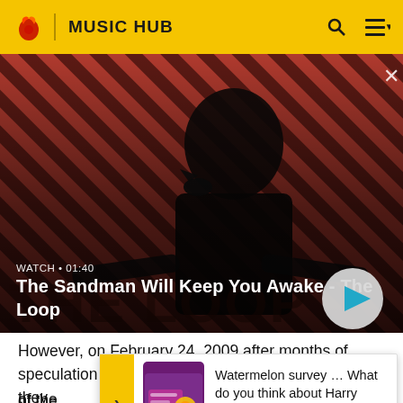MUSIC HUB
[Figure (screenshot): Hero image of a dark figure (The Sandman character) with a raven on shoulder, against diagonal stripe red/dark background. White X close button top right. Play button overlay bottom right.]
The Sandman Will Keep You Awake - The Loop
WATCH • 01:40
However, on February 24, 2009 after months of speculation and rumors, Faith No More announced they woul... of the... The Seco... ion
[Figure (infographic): Ad banner: Watermelon survey thumbnail image, text: Watermelon survey … What do you think about Harry Styles? TAKE THE SURVEY HERE]